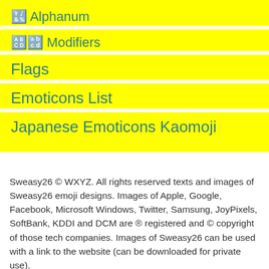🔣 Alphanum
🔠🔡 Modifiers
Flags
Emoticons List
Japanese Emoticons Kaomoji
Sweasy26 © WXYZ. All rights reserved texts and images of Sweasy26 emoji designs. Images of Apple, Google, Facebook, Microsoft Windows, Twitter, Samsung, JoyPixels, SoftBank, KDDI and DCM are ® registered and © copyright of those tech companies. Images of Sweasy26 can be used with a link to the website (can be downloaded for private use).